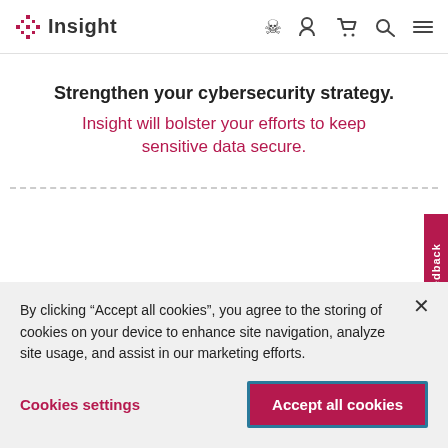Insight
Strengthen your cybersecurity strategy. Insight will bolster your efforts to keep sensitive data secure.
All keyword categories: Article, Federal government, Stat...
By clicking “Accept all cookies”, you agree to the storing of cookies on your device to enhance site navigation, analyze site usage, and assist in our marketing efforts.
Cookies settings
Accept all cookies